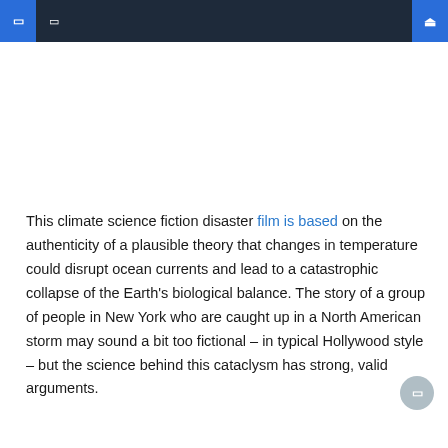Navigation header bar with menu icons and search
This climate science fiction disaster film is based on the authenticity of a plausible theory that changes in temperature could disrupt ocean currents and lead to a catastrophic collapse of the Earth’s biological balance. The story of a group of people in New York who are caught up in a North American storm may sound a bit too fictional – in typical Hollywood style – but the science behind this cataclysm has strong, valid arguments.